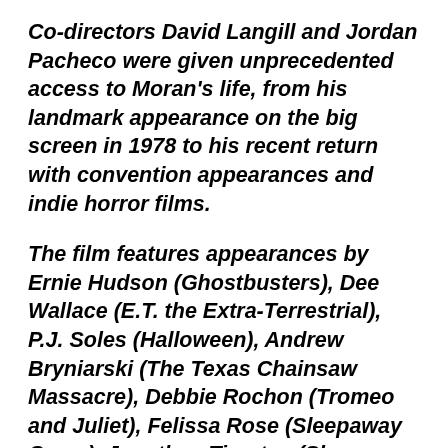Co-directors David Langill and Jordan Pacheco were given unprecedented access to Moran's life, from his landmark appearance on the big screen in 1978 to his recent return with convention appearances and indie horror films.
The film features appearances by Ernie Hudson (Ghostbusters), Dee Wallace (E.T. the Extra-Terrestrial), P.J. Soles (Halloween), Andrew Bryniarski (The Texas Chainsaw Massacre), Debbie Rochon (Tromeo and Juliet), Felissa Rose (Sleepaway Camp), Jonathan Tiersten (Sleepaway Camp), John Dugan (The Texas Chain Saw Massacre), Timothy Patrick Quill